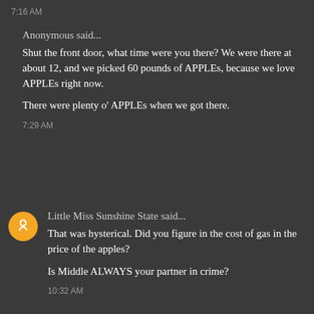7:16 AM
Anonymous said...
Shut the front door, what time were you there? We were there at about 12, and we picked 60 pounds of APPLEs, because we love APPLEs right now.
There were plenty o' APPLEs when we got there.
7:29 AM
Little Miss Sunshine State said...
That was hysterical. Did you figure in the cost of gas in the price of the apples?
Is Middle ALWAYS your partner in crime?
10:32 AM